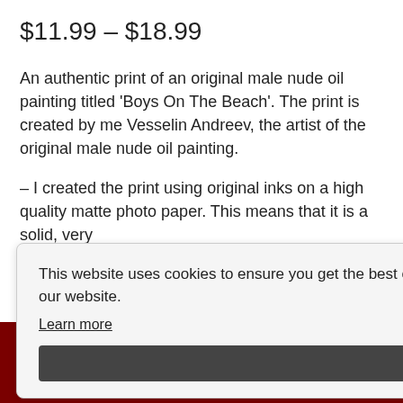$11.99 – $18.99
An authentic print of an original male nude oil painting titled 'Boys On The Beach'. The print is created by me Vesselin Andreev, the artist of the original male nude oil painting.
– I created the print using original inks on a high quality matte photo paper. This means that it is a solid, very [partially obscured] and UV [partially obscured] finish [partially obscured]ing (I [partially obscured]r paper
This website uses cookies to ensure you get the best experience on our website.
Learn more
[Figure (screenshot): Mobile website bottom navigation bar with dark red background showing user account icon, search icon, and shopping cart icon with badge showing 0]